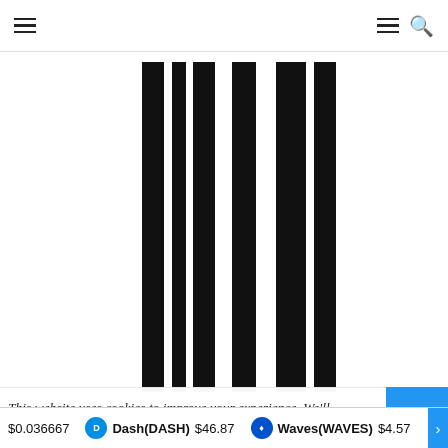Navigation bar with hamburger menu, hamburger menu, and search icon
[Figure (other): Partial barcode image — multiple tall vertical black bars on white background, cropped at top and bottom]
This website uses cookies to improve your experience. We'll assume you're ok with this, but you can opt-out if you wi...
$0.036667   Dash(DASH) $46.87   Waves(WAVES) $4.57